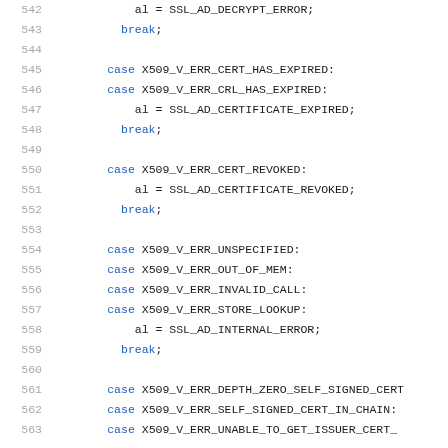Source code listing, lines 542–563, showing SSL/X509 error handling switch-case code in C
[Figure (screenshot): C source code snippet showing switch-case statements for X509 certificate error handling, mapping X509 error codes to SSL alert codes. Lines 542-563 visible.]